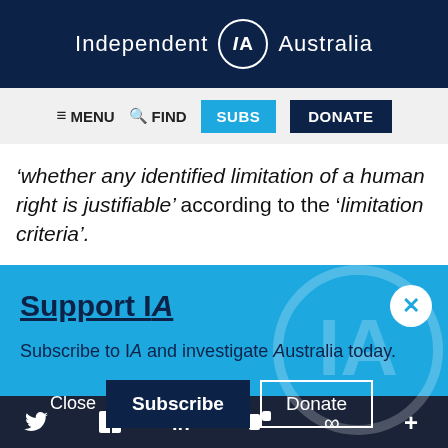Independent IA Australia
MENU  FIND  SUBS  DONATE
'whether any identified limitation of a human right is justifiable' according to the 'limitation criteria'.
Support IA
Subscribe to IA and investigate Australia today.
Close  Subscribe  Donate
Twitter  Facebook  LinkedIn  Flipboard  Link  More